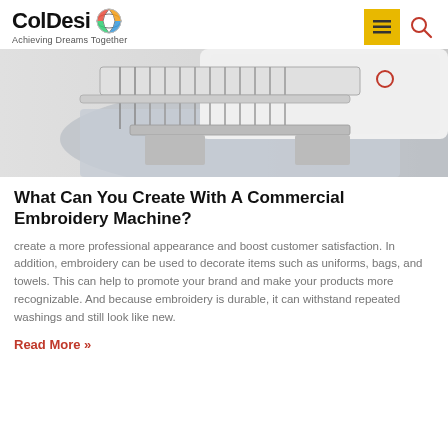ColDesi — Achieving Dreams Together
[Figure (photo): Close-up photo of a commercial embroidery machine head with needles and thread guides over silver/grey fabric]
What Can You Create With A Commercial Embroidery Machine?
create a more professional appearance and boost customer satisfaction. In addition, embroidery can be used to decorate items such as uniforms, bags, and towels. This can help to promote your brand and make your products more recognizable. And because embroidery is durable, it can withstand repeated washings and still look like new.
Read More »